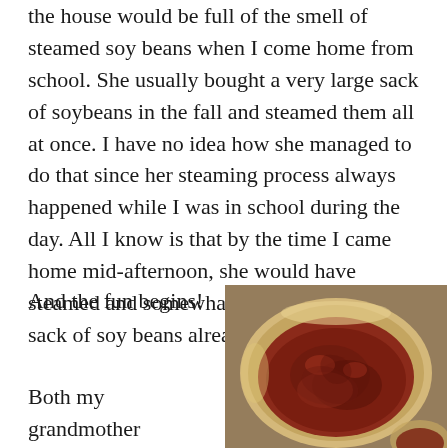the house would be full of the smell of steamed soy beans when I come home from school. She usually bought a very large sack of soybeans in the fall and steamed them all at once. I have no idea how she managed to do that since her steaming process always happened while I was in school during the day. All I know is that by the time I came home mid-afternoon, she would have steamed and somewhat cooled the large sack of soy beans already.
And the fun begins!
Both my grandmother
[Figure (photo): A ceramic bowl filled with dark reddish-brown fermented soybean paste (doenjang or similar), photographed from above at a slight angle.]